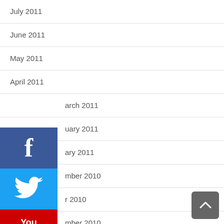July 2011
June 2011
May 2011
April 2011
March 2011
February 2011
January 2011
December 2010
November 2010
October 2010
September 2010
August 2010
July 2010
June 2010
May 2010
[Figure (infographic): Social media share buttons: Facebook (blue), Twitter (light blue), YouTube (red), Flickr (pink)]